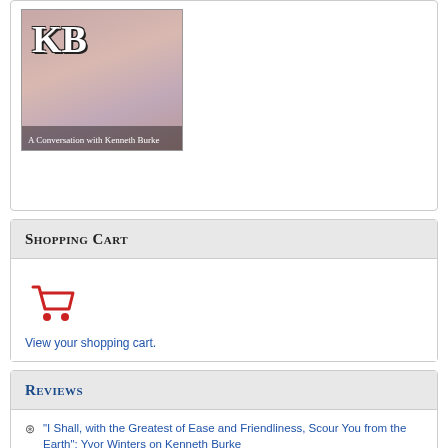[Figure (photo): Book or DVD cover with letters KB and subtitle 'A Conversation with Kenneth Burke', pink/warm background with a person in pink clothing]
Shopping Cart
[Figure (illustration): Red shopping cart icon]
View your shopping cart.
Reviews
"I Shall, with the Greatest of Ease and Friendliness, Scour You from the Earth": Yvor Winters on Kenneth Burke
Taking Burke Public: Perspectives on Burke's Connection Between Language and Public Action (Review Essay by Ryan Weber)
"From the Plaint to the Comic: Kenneth Burke's Towards a Better